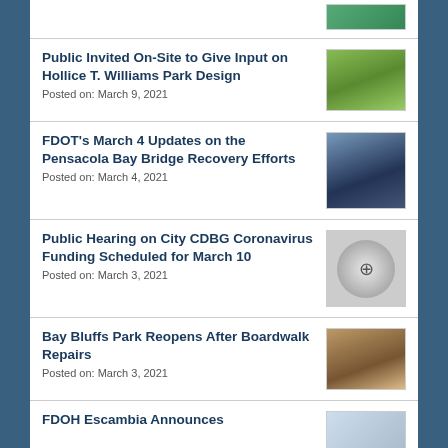Public Invited On-Site to Give Input on Hollice T. Williams Park Design
Posted on: March 9, 2021
FDOT's March 4 Updates on the Pensacola Bay Bridge Recovery Efforts
Posted on: March 4, 2021
Public Hearing on City CDBG Coronavirus Funding Scheduled for March 10
Posted on: March 3, 2021
Bay Bluffs Park Reopens After Boardwalk Repairs
Posted on: March 3, 2021
FDOH Escambia Announces…